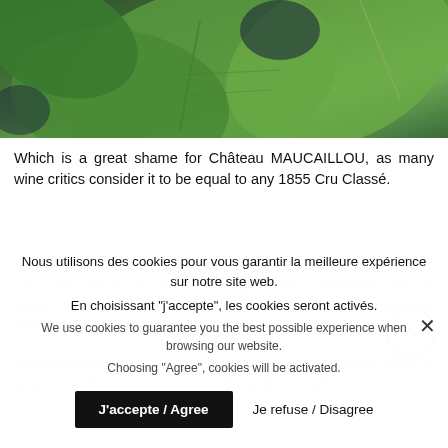[Figure (photo): Close-up photograph of large green leaves, partially cropped, with dark background visible between the leaves.]
Which is a great shame for Château MAUCAILLOU, as many wine critics consider it to be equal to any 1855 Cru Classé.
Nous utilisons des cookies pour vous garantir la meilleure expérience sur notre site web.
En choisissant "j'accepte", les cookies seront activés.
We use cookies to guarantee you the best possible experience when browsing our website.
Choosing "Agree", cookies will be activated.
J'accepte / Agree
Je refuse / Disagree